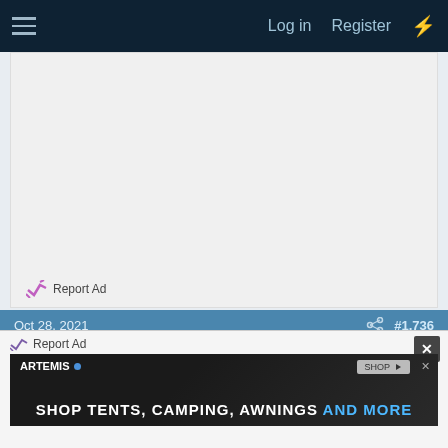Log in  Register
[Figure (other): Advertisement placeholder area with light gray background]
Report Ad
Oct 28, 2021  #1,736
tlake6659
Senior Member  Since 2002/2003
[Figure (other): Bottom advertisement banner: ARTEMIS - SHOP TENTS, CAMPING, AWNINGS AND MORE]
Report Ad